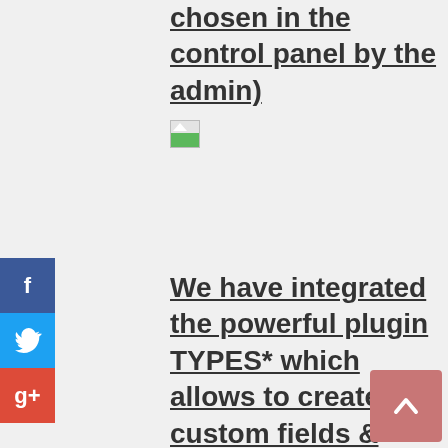chosen in the control panel by the admin)
[Figure (other): Broken/placeholder image thumbnail]
We have integrated the powerful plugin TYPES* which allows to create custom fields & custom search
[Figure (other): Broken/placeholder image thumbnail]
For more information about TYPES plugin please watch the video by clicking on the banner below
[Figure (other): Broken/placeholder image thumbnail]